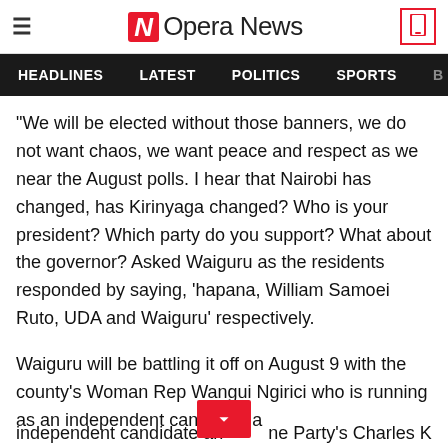Opera News
HEADLINES   LATEST   POLITICS   SPORTS   B
"We will be elected without those banners, we do not want chaos, we want peace and respect as we near the August polls. I hear that Nairobi has changed, has Kirinyaga changed? Who is your president? Which party do you support? What about the governor? Asked Waiguru as the residents responded by saying, 'hapana, William Samoei Ruto, UDA and Waiguru' respectively.
Waiguru will be battling it off on August 9 with the county's Woman Rep Wangui Ngirici who is running as an independent candidate an...ne Party's Charles Kibiru